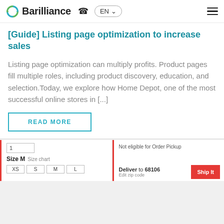Barilliance
[Guide] Listing page optimization to increase sales
Listing page optimization can multiply profits. Product pages fill multiple roles, including product discovery, education, and selection.Today, we explore how Home Depot, one of the most successful online stores in [...]
READ MORE
[Figure (screenshot): Bottom section showing a product page with size selector (XS, S, M, L), quantity box, delivery to zip code 68106, and Ship It button. Not eligible for Order Pickup message shown.]